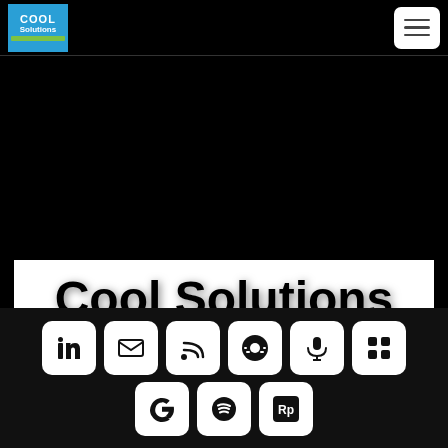[Figure (logo): Cool Solutions logo with blue background, green bar, white text]
[Figure (screenshot): Hamburger menu button (three horizontal lines) in white rounded square]
Cool Solutions
[Figure (infographic): Row of social media icon buttons: LinkedIn, Email, RSS, podcast/audio icon, Podcast, grid icon; second row: Google, Spotify, Rp icon]